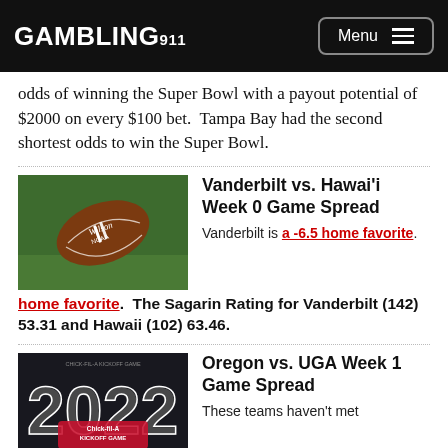GAMBLING911 | Menu
odds of winning the Super Bowl with a payout potential of $2000 on every $100 bet.  Tampa Bay had the second shortest odds to win the Super Bowl.
[Figure (photo): Wilson NCAA football on grass field]
Vanderbilt vs. Hawai'i Week 0 Game Spread
Vanderbilt is a -6.5 home favorite.  The Sagarin Rating for Vanderbilt (142) 53.31 and Hawaii (102) 63.46.
[Figure (photo): 2022 Chick-fil-A Kickoff Game promotional image with Oregon and Georgia helmets]
Oregon vs. UGA Week 1 Game Spread
These teams haven't met